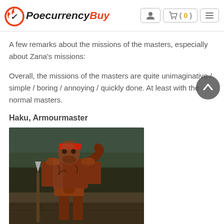PoecurrencyBuy  (0)
A few remarks about the missions of the masters, especially about Zana's missions:
Overall, the missions of the masters are quite unimaginative / simple / boring / annoying / quickly done. At least with the normal masters.
Haku, Armourmaster
[Figure (photo): Screenshot of Haku, Armourmaster character from Path of Exile — a large armored warrior figure standing in a stone/outdoor environment]